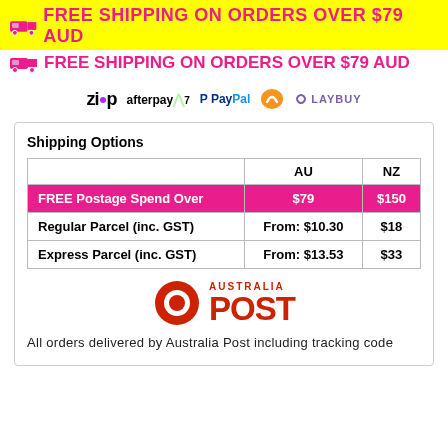FREE SHIPPING ON ORDERS OVER $79 AUD
FREE SHIPPING ON ORDERS OVER $79 AUD
[Figure (logo): Payment logos: Zip, Afterpay, PayPal, Humm, Laybuy]
Shipping Options
|  | AU | NZ |
| --- | --- | --- |
| FREE Postage Spend Over | $79 | $150 |
| Regular Parcel (inc. GST) | From: $10.30 | $18 |
| Express Parcel (inc. GST) | From: $13.53 | $33 |
[Figure (logo): Australia Post logo]
All orders delivered by Australia Post including tracking code